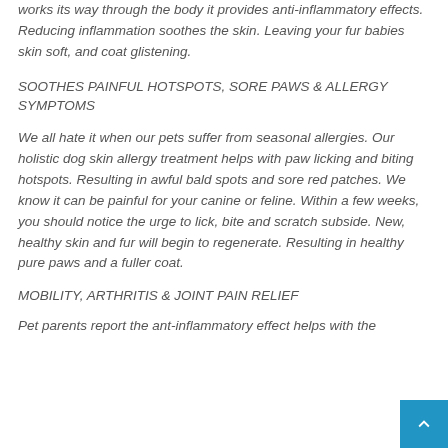works its way through the body it provides anti-inflammatory effects. Reducing inflammation soothes the skin. Leaving your fur babies skin soft, and coat glistening.
SOOTHES PAINFUL HOTSPOTS, SORE PAWS & ALLERGY SYMPTOMS
We all hate it when our pets suffer from seasonal allergies. Our holistic dog skin allergy treatment helps with paw licking and biting hotspots. Resulting in awful bald spots and sore red patches. We know it can be painful for your canine or feline. Within a few weeks, you should notice the urge to lick, bite and scratch subside. New, healthy skin and fur will begin to regenerate. Resulting in healthy pure paws and a fuller coat.
MOBILITY, ARTHRITIS & JOINT PAIN RELIEF
Pet parents report the ant-inflammatory effect helps with the